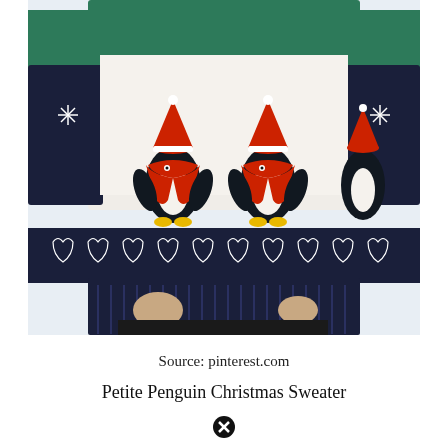[Figure (photo): A woman wearing a Christmas sweater featuring two penguins with red Santa hats and scarves on a white background with navy blue trim and decorative patterns. She is also wearing black leather-look trousers. The sweater has a green yoke at the top.]
Source: pinterest.com
Petite Penguin Christmas Sweater